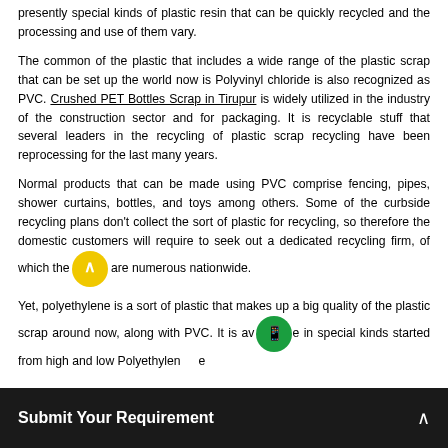presently special kinds of plastic resin that can be quickly recycled and the processing and use of them vary.
The common of the plastic that includes a wide range of the plastic scrap that can be set up the world now is Polyvinyl chloride is also recognized as PVC. Crushed PET Bottles Scrap in Tirupur is widely utilized in the industry of the construction sector and for packaging. It is recyclable stuff that several leaders in the recycling of plastic scrap recycling have been reprocessing for the last many years.
Normal products that can be made using PVC comprise fencing, pipes, shower curtains, bottles, and toys among others. Some of the curbside recycling plans don't collect the sort of plastic for recycling, so therefore the domestic customers will require to seek out a dedicated recycling firm, of which there are numerous nationwide.
Yet, polyethylene is a sort of plastic that makes up a big quality of the plastic scrap around now, along with PVC. It is available in special kinds started from high and low Polyethylene...
Submit Your Requirement